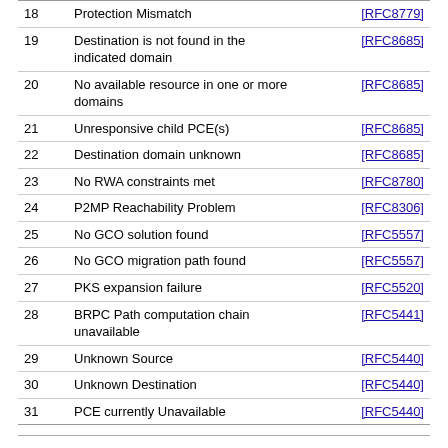| # | Description | Reference |
| --- | --- | --- |
| 18 | Protection Mismatch | [RFC8779] |
| 19 | Destination is not found in the indicated domain | [RFC8685] |
| 20 | No available resource in one or more domains | [RFC8685] |
| 21 | Unresponsive child PCE(s) | [RFC8685] |
| 22 | Destination domain unknown | [RFC8685] |
| 23 | No RWA constraints met | [RFC8780] |
| 24 | P2MP Reachability Problem | [RFC8306] |
| 25 | No GCO solution found | [RFC5557] |
| 26 | No GCO migration path found | [RFC5557] |
| 27 | PKS expansion failure | [RFC5520] |
| 28 | BRPC Path computation chain unavailable | [RFC5441] |
| 29 | Unknown Source | [RFC5440] |
| 30 | Unknown Destination | [RFC5440] |
| 31 | PCE currently Unavailable | [RFC5440] |
MONITORING Object Flag Field
Registration Procedure(s)